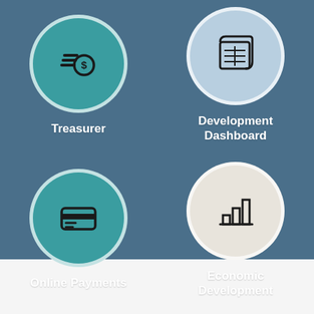[Figure (infographic): Four circular icons on a blue background arranged in a 2x2 grid. Top-left: teal circle with a coin/money icon labeled 'Treasurer'. Top-right: light blue circle with a blueprint/document icon labeled 'Development Dashboard'. Bottom-left: teal circle with a credit card icon labeled 'Online Payments'. Bottom-right: beige/gray circle with a bar chart icon labeled 'Economic Development'.]